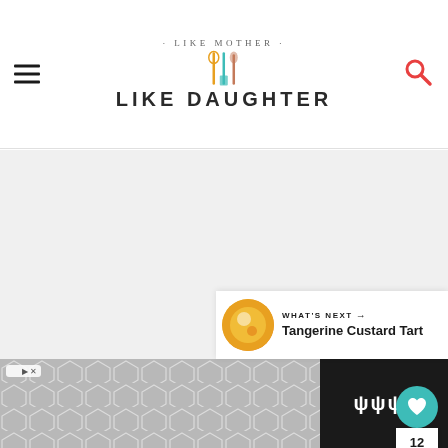Like Mother Like Daughter — website header with logo, hamburger menu, and search icon
[Figure (screenshot): Large blank/grey content area filling most of the page, representing a recipe article image or content]
[Figure (infographic): Side action buttons: teal heart/like button, count '12', and share button]
WHAT'S NEXT → Tangerine Custard Tart
[Figure (photo): Thumbnail of Tangerine Custard Tart with orange/yellow color]
[Figure (infographic): Footer advertisement banner with hexagonal chevron pattern in grey, ad badge, and weather widget on dark background]